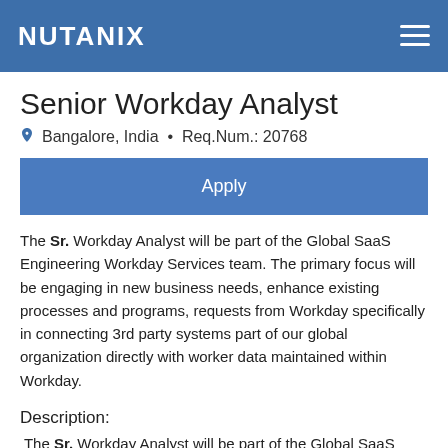NUTANIX
Senior Workday Analyst
Bangalore, India  •  Req.Num.: 20768
Apply
The Sr. Workday Analyst will be part of the Global SaaS Engineering Workday Services team. The primary focus will be engaging in new business needs, enhance existing processes and programs, requests from Workday specifically in connecting 3rd party systems part of our global organization directly with worker data maintained within Workday.
Description:
The Sr. Workday Analyst will be part of the Global SaaS Engineering Workday Services team. The person will be an expert in Workday capabilities and configurations, perform Workday Configuration